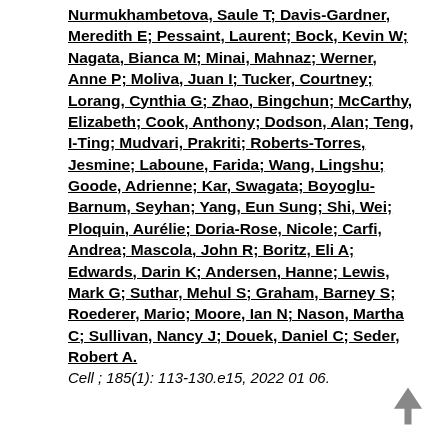Nurmukhambetova, Saule T; Davis-Gardner, Meredith E; Pessaint, Laurent; Bock, Kevin W; Nagata, Bianca M; Minai, Mahnaz; Werner, Anne P; Moliva, Juan I; Tucker, Courtney; Lorang, Cynthia G; Zhao, Bingchun; McCarthy, Elizabeth; Cook, Anthony; Dodson, Alan; Teng, I-Ting; Mudvari, Prakriti; Roberts-Torres, Jesmine; Laboune, Farida; Wang, Lingshu; Goode, Adrienne; Kar, Swagata; Boyoglu-Barnum, Seyhan; Yang, Eun Sung; Shi, Wei; Ploquin, Aurélie; Doria-Rose, Nicole; Carfi, Andrea; Mascola, John R; Boritz, Eli A; Edwards, Darin K; Andersen, Hanne; Lewis, Mark G; Suthar, Mehul S; Graham, Barney S; Roederer, Mario; Moore, Ian N; Nason, Martha C; Sullivan, Nancy J; Douek, Daniel C; Seder, Robert A.
Cell ; 185(1): 113-130.e15, 2022 01 06.